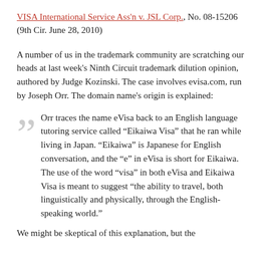VISA International Service Ass'n v. JSL Corp., No. 08-15206 (9th Cir. June 28, 2010)
A number of us in the trademark community are scratching our heads at last week's Ninth Circuit trademark dilution opinion, authored by Judge Kozinski. The case involves evisa.com, run by Joseph Orr. The domain name's origin is explained:
Orr traces the name eVisa back to an English language tutoring service called “Eikaiwa Visa” that he ran while living in Japan. “Eikaiwa” is Japanese for English conversation, and the “e” in eVisa is short for Eikaiwa. The use of the word “visa” in both eVisa and Eikaiwa Visa is meant to suggest “the ability to travel, both linguistically and physically, through the English-speaking world.”
We might be skeptical of this explanation, but the